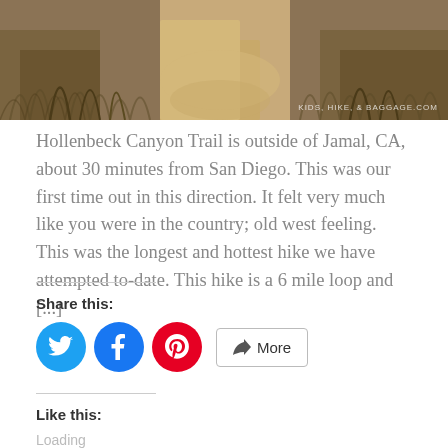[Figure (photo): Outdoor trail photo showing dry golden grass and a dirt path, with watermark 'KIDS, HIKE, & BAGGAGE.COM' in bottom right corner]
Hollenbeck Canyon Trail is outside of Jamal, CA, about 30 minutes from San Diego. This was our first time out in this direction. It felt very much like you were in the country; old west feeling. This was the longest and hottest hike we have attempted to-date. This hike is a 6 mile loop and [...]
Share this:
[Figure (infographic): Social share buttons: Twitter (blue circle), Facebook (blue circle), Pinterest (red circle), and a More button with share icon]
Like this:
Loading